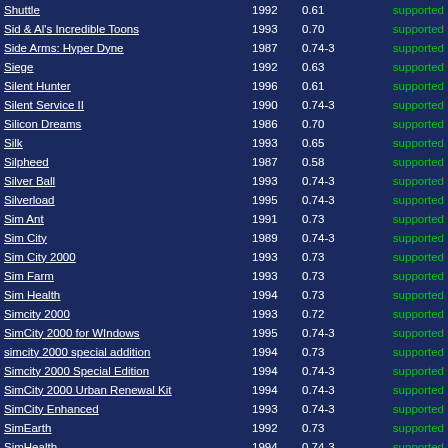| Name | Year | Version | Status | Bar |
| --- | --- | --- | --- | --- |
| Shuttle | 1992 | 0.61 | supported |  |
| Sid & Al's Incredible Toons | 1993 | 0.70 | supported |  |
| Side Arms: Hyper Dyne | 1987 | 0.74-3 | supported |  |
| Siege | 1992 | 0.63 | supported |  |
| Silent Hunter | 1996 | 0.61 | supported |  |
| Silent Service II | 1990 | 0.74-3 | supported |  |
| Silicon Dreams | 1986 | 0.70 | supported |  |
| Silk | 1993 | 0.65 | supported |  |
| Silpheed | 1987 | 0.58 | supported |  |
| Silver Ball | 1993 | 0.74-3 | supported |  |
| Silverload | 1995 | 0.74-3 | supported |  |
| Sim Ant | 1991 | 0.73 | supported |  |
| Sim City | 1989 | 0.74-3 | supported |  |
| Sim City 2000 | 1993 | 0.73 | supported |  |
| Sim Farm | 1993 | 0.73 | supported |  |
| Sim Health | 1994 | 0.73 | supported |  |
| Simcity 2000 | 1993 | 0.72 | supported |  |
| SimCity 2000 for WIndows | 1995 | 0.74-3 | supported |  |
| simcity 2000 special addition | 1994 | 0.73 | supported |  |
| Simcity 2000 Special Edition | 1994 | 0.74-3 | supported |  |
| SimCity 2000 Urban Renewal Kit | 1994 | 0.74-3 | supported |  |
| SimCity Enhanced | 1993 | 0.74-3 | supported |  |
| SimEarth | 1992 | 0.73 | supported |  |
| SimHealth | 1994 | 0.74-3 | supported |  |
| SimIsle | 1995 | 0.70 | supported |  |
| SimLife | 1992 | 0.73 | supported |  |
| Simon the Sorcerer | 1993 | 0.74-3 | supported |  |
| Simon the Sorcerer 2 (CD) | 1995 | 0.70 | supported |  |
| Simpsons Arcade | 1991 | 0.58 | supported |  |
| SimTunes | 1996 | 0.74-3 | supported |  |
| Simulador Profesional de Fútbol | 1992 | 0.74-3 | supported |  |
| Simusex | 1993 | 0.58 | supported |  |